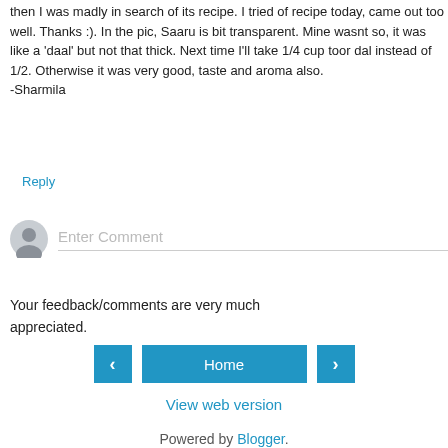then I was madly in search of its recipe. I tried of recipe today, came out too well. Thanks :). In the pic, Saaru is bit transparent. Mine wasnt so, it was like a 'daal' but not that thick. Next time I'll take 1/4 cup toor dal instead of 1/2. Otherwise it was very good, taste and aroma also.
-Sharmila
Reply
[Figure (other): User avatar placeholder icon with Enter Comment text input field]
Your feedback/comments are very much appreciated.
[Figure (other): Navigation bar with left arrow button, Home button, and right arrow button]
View web version
Powered by Blogger.